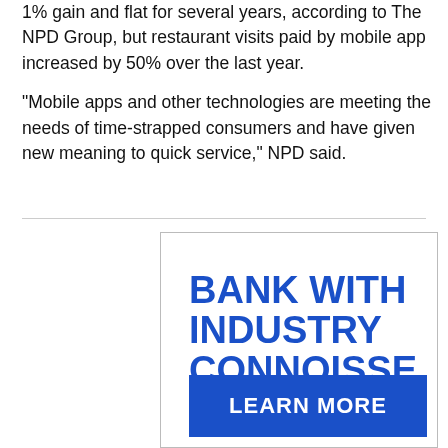1% gain and flat for several years, according to The NPD Group, but restaurant visits paid by mobile app increased by 50% over the last year.
“Mobile apps and other technologies are meeting the needs of time-strapped consumers and have given new meaning to quick service,” NPD said.
[Figure (other): Advertisement banner with text 'BANK WITH INDUSTRY CONNOISSE' in bold blue uppercase letters and a blue 'LEARN MORE' button]